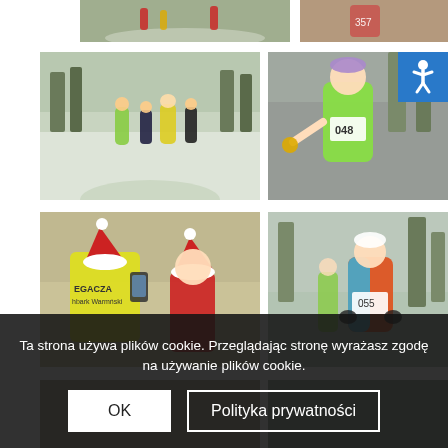[Figure (photo): Winter running race - runners in red and yellow gear on snowy forest path, top partial view]
[Figure (photo): Winter running race - runner with race number, close-up, top partial view]
[Figure (photo): Winter running race - group of runners in colorful gear running on snowy forest road]
[Figure (photo): Winter running race - woman in green jacket with race number 048 holding medal, smiling]
[Figure (photo): Winter running event - volunteers/officials in Santa hats and PEGACZA vest, one using phone]
[Figure (photo): Winter running race - male runner in colorful jacket with race number running on snowy forest path]
[Figure (photo): Winter running event - partial view of additional photos at bottom]
[Figure (photo): Winter running event - partial view of additional photos at bottom right]
Ta strona używa plików cookie. Przeglądając stronę wyrażasz zgodę na używanie plików cookie.
OK
Polityka prywatności